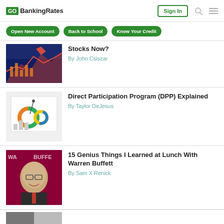GOBankingRates | Sign In
Open New Account
Back to School
Know Your Credit
Stocks Now?
By John Csiszar
Direct Participation Program (DPP) Explained
By Taylor DeJesus
15 Genius Things I Learned at Lunch With Warren Buffett
By Sam X Renick